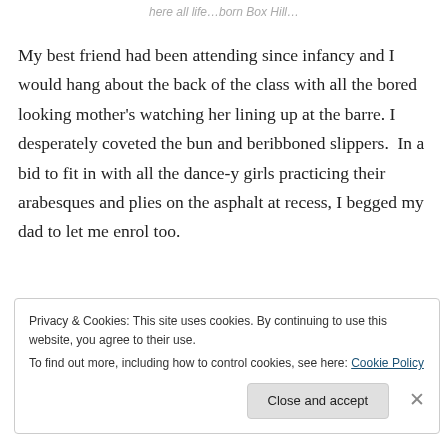here all life…born Box Hill…
My best friend had been attending since infancy and I would hang about the back of the class with all the bored looking mother's watching her lining up at the barre. I desperately coveted the bun and beribboned slippers.  In a bid to fit in with all the dance-y girls practicing their arabesques and plies on the asphalt at recess, I begged my dad to let me enrol too.
Privacy & Cookies: This site uses cookies. By continuing to use this website, you agree to their use.
To find out more, including how to control cookies, see here: Cookie Policy
Close and accept